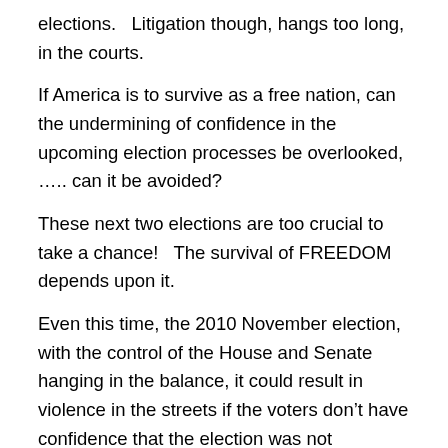elections.   Litigation though, hangs too long, in the courts.
If America is to survive as a free nation, can the undermining of confidence in the upcoming election processes be overlooked, ….. can it be avoided?
These next two elections are too crucial to take a chance!   The survival of FREEDOM depends upon it.
Even this time, the 2010 November election, with the control of the House and Senate hanging in the balance, it could result in violence in the streets if the voters don't have confidence that the election was not fraudulent!
We all await “the October Surprise”, but even if it's voting rights for all given immediate amnesty, whether it can negate the conservative vote…. the former, 'middle of the